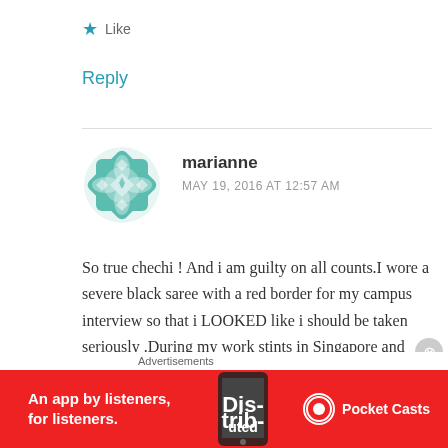★ Like
Reply
marianne
MAY 19, 2016 AT 12:57 AM
So true chechi ! And i am guilty on all counts.I wore a severe black saree with a red border for my campus interview so that i LOOKED like i should be taken seriously .During my work stints in Singapore and Hong Kong my work clothes
Advertisements
[Figure (infographic): Pocket Casts advertisement banner: red background with phone image, text 'An app by listeners, for listeners.' and Pocket Casts logo]